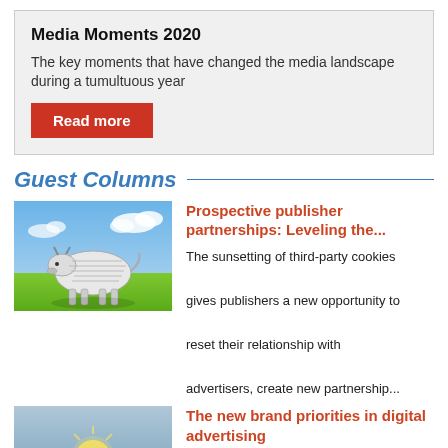Media Moments 2020
The key moments that have changed the media landscape during a tumultuous year
Read more
Guest Columns
[Figure (photo): A cow wrapped in printed newspaper/dollar bills standing in a green field with a blue sky background]
Prospective publisher partnerships: Leveling the...
The sunsetting of third-party cookies gives publishers a new opportunity to reset their relationship with advertisers, create new partnership...
[Figure (photo): A lightbulb on a blue/grey background, partially visible at bottom of page]
The new brand priorities in digital advertising
The PR: The advertising...